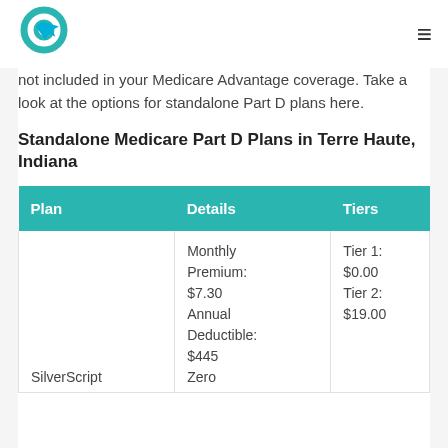not included in your Medicare Advantage coverage. Take a look at the options for standalone Part D plans here.
Standalone Medicare Part D Plans in Terre Haute, Indiana
| Plan | Details | Tiers |
| --- | --- | --- |
| SilverScript | Monthly Premium: $7.30
Annual Deductible: $445
Zero | Tier 1: $0.00
Tier 2: $19.00 |